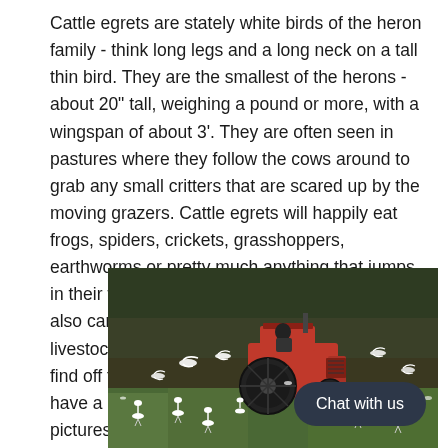Cattle egrets are stately white birds of the heron family - think long legs and a long neck on a tall thin bird.  They are the smallest of the herons - about 20" tall, weighing a pound or more, with a wingspan of about 3'.  They are often seen in pastures where they follow the cows around to grab any small critters that are scared up by the moving grazers.  Cattle egrets will happily eat frogs, spiders, crickets, grasshoppers, earthworms or pretty much anything that jumps in their way including mice and small rats.  They also can be seen sitting on top of cows or other livestock and picking whatever ticks they can find off their temporary hosts.  Because they have a huge geographic range, you can find pictures of cattle egrets with elephants, rhinoceros, pigs, elk, deer, horses, cows, you name it.  If it's a large animal that grazes or moves through grazing land, it's likely they will have cattle egrets there also.
[Figure (photo): A red tractor being driven across a green field with numerous white cattle egrets flying and scattered around it on the ground. The background shows a dark grassy/plowed field.]